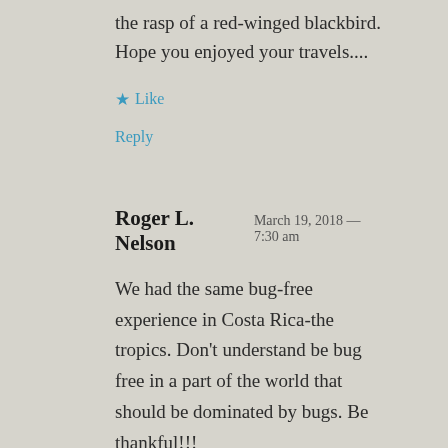the rasp of a red-winged blackbird. Hope you enjoyed your travels....
★ Like
Reply
Roger L. Nelson   March 19, 2018 — 7:30 am
We had the same bug-free experience in Costa Rica-the tropics. Don't understand be bug free in a part of the world that should be dominated by bugs. Be thankful!!!